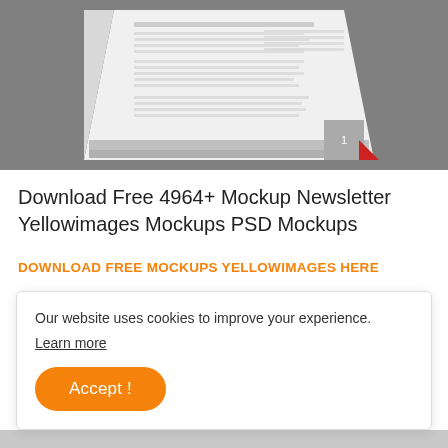[Figure (screenshot): Newsletter mockup displayed as a 3D folded document on a grey background, showing French text content]
Download Free 4964+ Mockup Newsletter Yellowimages Mockups PSD Mockups
DOWNLOAD FREE MOCKUPS YELLOWIMAGES HERE
Download Free 4964+ Mockup Newsletter
Our website uses cookies to improve your experience.
Learn more
Accept !